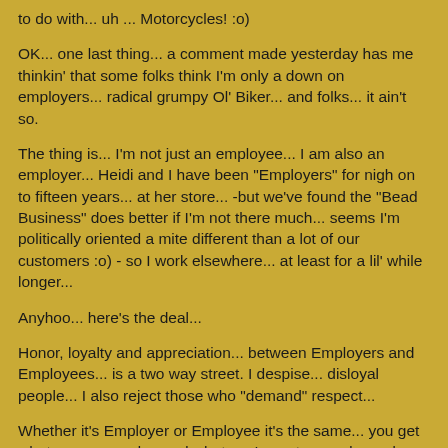to do with... uh ... Motorcycles! :o)
OK... one last thing... a comment made yesterday has me thinkin' that some folks think I'm only a down on employers... radical grumpy Ol' Biker... and folks... it ain't so.
The thing is... I'm not just an employee... I am also an employer... Heidi and I have been "Employers" for nigh on to fifteen years... at her store... -but we've found the "Bead Business" does better if I'm not there much... seems I'm politically oriented a mite different than a lot of our customers :o) - so I work elsewhere... at least for a lil' while longer...
Anyhoo... here's the deal...
Honor, loyalty and appreciation... between Employers and Employees... is a two way street. I despise... disloyal people... I also reject those who "demand" respect...
Whether it's Employer or Employee it's the same... you get what you earn... demand what you've not earned... and you'll